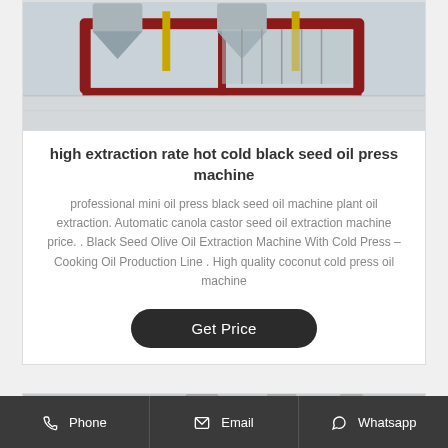[Figure (photo): Industrial oil press machine with red frame, metal hoppers and yellow pipes in a factory setting]
high extraction rate hot cold black seed oil press machine
professional mini oil press black seed oil machine plant oil extraction. Automatic canola castor seed oil extraction machine price. . Black Seed Olive Oil Extraction Machine With Cold Press – Cooking Oil Production Line . High quality coconut cold press oil machine
Get Price
[Figure (photo): Industrial oil distillation equipment with silver tanks and pipes in a factory]
Phone   Email   Whatsapp